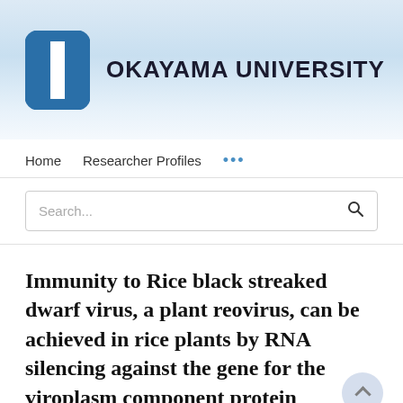[Figure (logo): Okayama University logo: a stylized blue rectangular 'O' shape with a white center column, followed by the text OKAYAMA UNIVERSITY in bold sans-serif on a light blue gradient banner background.]
Home   Researcher Profiles   ...
Search...
Immunity to Rice black streaked dwarf virus, a plant reovirus, can be achieved in rice plants by RNA silencing against the gene for the viroplasm component protein